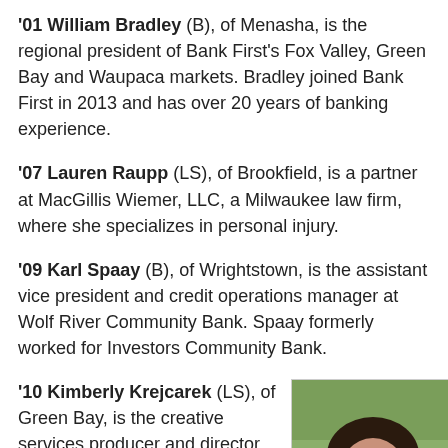'01 William Bradley (B), of Menasha, is the regional president of Bank First's Fox Valley, Green Bay and Waupaca markets. Bradley joined Bank First in 2013 and has over 20 years of banking experience.
'07 Lauren Raupp (LS), of Brookfield, is a partner at MacGillis Wiemer, LLC, a Milwaukee law firm, where she specializes in personal injury.
'09 Karl Spaay (B), of Wrightstown, is the assistant vice president and credit operations manager at Wolf River Community Bank. Spaay formerly worked for Investors Community Bank.
'10 Kimberly Krejcarek (LS), of Green Bay, is the creative services producer and director of community relations at
[Figure (photo): Headshot photo of Kimberly Krejcarek, a woman with long dark hair, smiling, outdoors with greenery in background.]